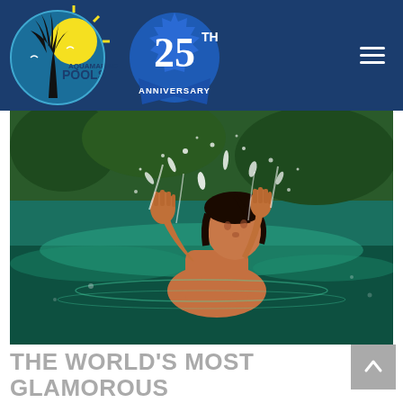[Figure (logo): Aquamarine Pools 25th Anniversary logo on dark blue navigation header bar with hamburger menu icon]
[Figure (photo): A person in turquoise pool water splashing water upward with both hands raised, water droplets spraying, dark wet hair, dramatic action shot]
THE WORLD'S MOST GLAMOROUS FIBERGLASS